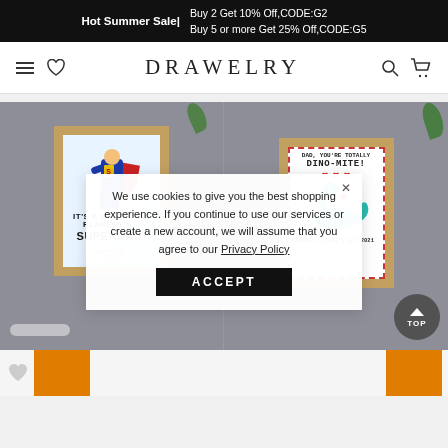Hot Summer Sale | Buy 2 Get 10% Off,CODE:G2 Buy 5 or more Get 25% Off,CODE:G5
DRAWELRY
[Figure (photo): Two framed art prints on a grey shelf: left frame shows a Superman-style 'SUPERDAD!' illustration, right frame shows a dinosaur with hearts and text 'DAD, YOU'RE TOTALLY DINO-MITE! HAPPY FATHER'S DAY 2021']
We use cookies to give you the best shopping experience. If you continue to use our services or create a new account, we will assume that you agree to our Privacy Policy
ACCEPT